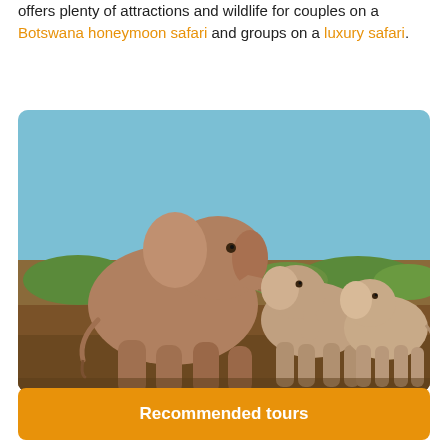offers plenty of attractions and wildlife for couples on a Botswana honeymoon safari and groups on a luxury safari.
[Figure (photo): A large adult elephant walking with trunk extended toward two smaller young elephants, on a dry sandy riverbank with green vegetation and blue sky in the background.]
Recommended tours